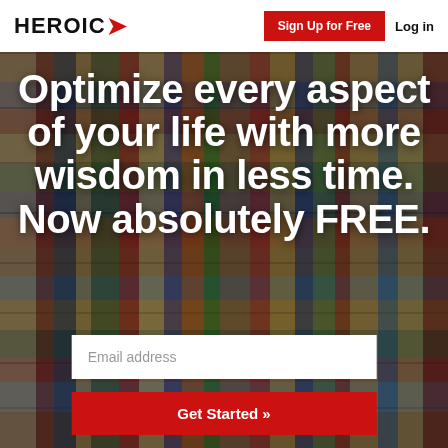HEROIC
Sign Up for Free
Log in
[Figure (photo): Background photo of stacked books with colorful spines, slightly darkened overlay]
Optimize every aspect of your life with more wisdom in less time. Now absolutely FREE.
Email address
Get Started »